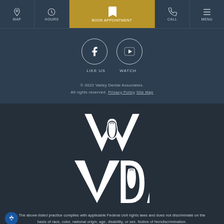MAP | HOURS | BOOK APPOINTMENT | CALL | MENU
[Figure (logo): Facebook circle icon with LIKE US label and YouTube circle icon with WATCH label]
© 2022 Valley Dental Associates. All rights reserved. Privacy Policy  Site Map
[Figure (logo): VDA (Valley Dental Associates) white logo with tooth shape in letter D]
The above-listed practice complies with applicable Federal civil rights laws and does not discriminate on the basis of race, color, national origin, age, disability, or sex. Notice of Nondiscrimination.